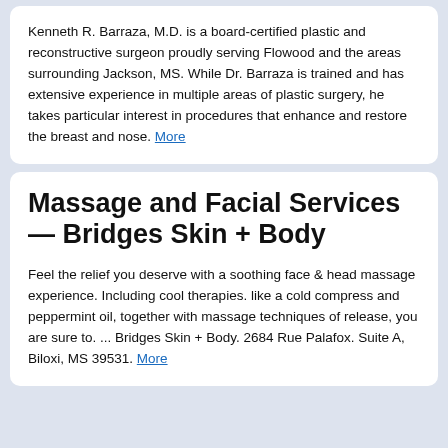Kenneth R. Barraza, M.D. is a board-certified plastic and reconstructive surgeon proudly serving Flowood and the areas surrounding Jackson, MS. While Dr. Barraza is trained and has extensive experience in multiple areas of plastic surgery, he takes particular interest in procedures that enhance and restore the breast and nose. More
Massage and Facial Services — Bridges Skin + Body
Feel the relief you deserve with a soothing face & head massage experience. Including cool therapies. like a cold compress and peppermint oil, together with massage techniques of release, you are sure to. ... Bridges Skin + Body. 2684 Rue Palafox. Suite A, Biloxi, MS 39531. More